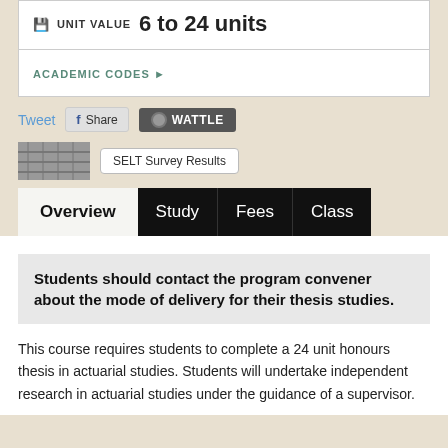UNIT VALUE  6 to 24 units
ACADEMIC CODES ▶
Tweet  Share  WATTLE
[Figure (logo): ANU logo image]
SELT Survey Results
Overview  Study  Fees  Class
Students should contact the program convener about the mode of delivery for their thesis studies.
This course requires students to complete a 24 unit honours thesis in actuarial studies. Students will undertake independent research in actuarial studies under the guidance of a supervisor.